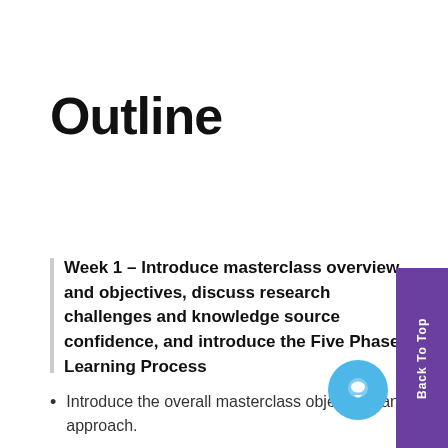Outline
Week 1 – Introduce masterclass overview and objectives, discuss research challenges and knowledge source confidence, and introduce the Five Phase Learning Process
Introduce the overall masterclass objectives and approach.
Discuss research challenges, and participate in a reflection exercise to understand the nature of the